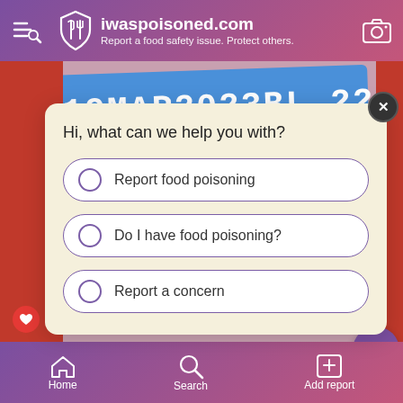[Figure (screenshot): Mobile app top navigation bar for iwaspoisoned.com with purple-pink gradient, shield logo, menu icon, camera icon, site name and tagline 'Report a food safety issue. Protect others.']
[Figure (photo): Background photo showing packaging with date stamp '19MAR2023BL 2258...' on blue and red surface]
Hi, what can we help you with?
Report food poisoning
Do I have food poisoning?
Report a concern
[Figure (screenshot): Bottom action bar with Helpful, Add report, Follow, Share icons]
[Figure (screenshot): Bottom navigation bar with Home, Search, Add report icons on purple-pink gradient]